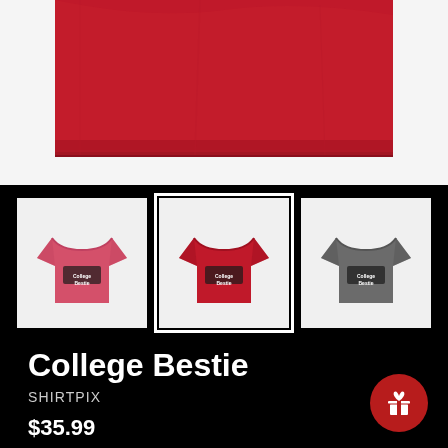[Figure (photo): Close-up of a red t-shirt fabric, showing the bottom hem area against a white background]
[Figure (photo): Three t-shirt color variants shown as thumbnails: pink/heather red, red (selected with white border), and grey. Each shirt has 'College Bestie' text logo printed on the front.]
College Bestie
SHIRTPIX
$35.99
Tax included. Shipping calculated at checkout.